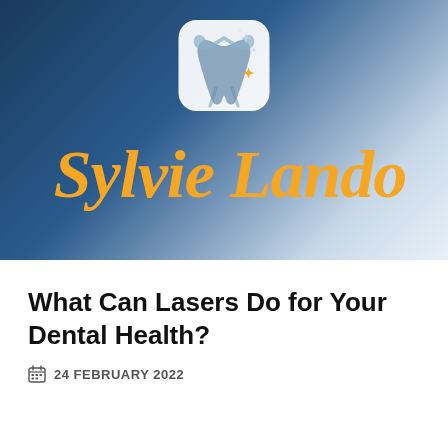[Figure (logo): Sylvie Landou dental clinic logo — blue/grey background banner with a white rounded-square icon containing a stylized blue tooth shape with sparkles, and the cursive orange brand name 'Sylvie Lando' (partially cropped) below it]
What Can Lasers Do for Your Dental Health?
24 FEBRUARY 2022